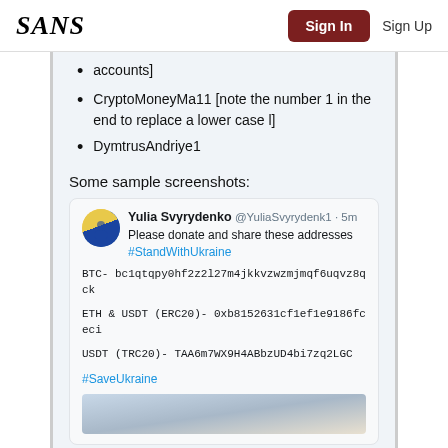SANS | Sign In | Sign Up
accounts]
CryptoMoneyMa11 [note the number 1 in the end to replace a lower case l]
DymtrusAndriye1
Some sample screenshots:
[Figure (screenshot): Tweet from Yulia Svyrydenko @YuliaSvyrydenk1 asking to donate and share cryptocurrency addresses for Ukraine, with BTC, ETH & USDT (ERC20), and USDT (TRC20) addresses listed, along with #StandWithUkraine and #SaveUkraine hashtags, and a partial image below.]